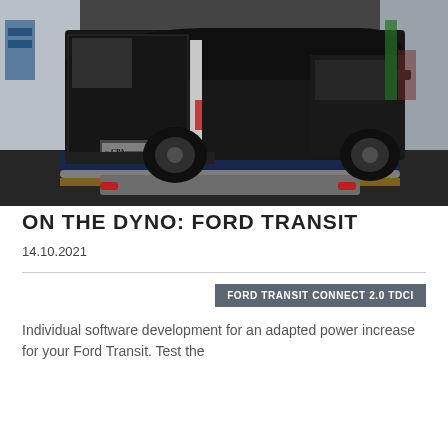CPA CHIPTUNING — navigation bar with logo, cart (0), search, menu icons
[Figure (photo): Black Ford Transit van on a rolling road dyno in a workshop. Rear view showing the vehicle on blue dyno rollers with steel guide bar in foreground. CPA Chiptuning sticker visible on rear bumper.]
ON THE DYNO: FORD TRANSIT
14.10.2021
FORD TRANSIT CONNECT 2.0 TDCI
Individual software development for an adapted power increase for your Ford Transit. Test the